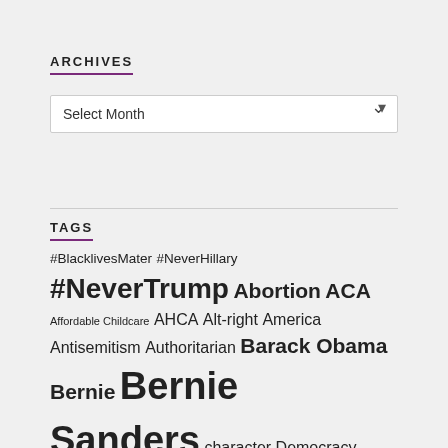ARCHIVES
Select Month
TAGS
#BlacklivesMater #NeverHillary #NeverTrump Abortion ACA Affordable Childcare AHCA Alt-right America Antisemitism Authoritarian Barack Obama Bernie Bernie Sanders character Democracy Democrats DemsinPhilly Donald Trump Election 2016 Election 2020 Electoral College environmentalism EPA Fair Schedules Family Planning Feminism Golem GOP Gun Control Hacking Healthcare Hillary Hillary